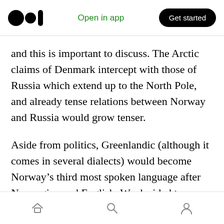Medium logo | Open in app | Get started
and this is important to discuss. The Arctic claims of Denmark intercept with those of Russia which extend up to the North Pole, and already tense relations between Norway and Russia would grow tenser.
Aside from politics, Greenlandic (although it comes in several dialects) would become Norway’s third most spoken language after Norwegian and English. We decided to exclude the different written languages of Norway, and only include languages that are spoken instead
Home | Search | Profile